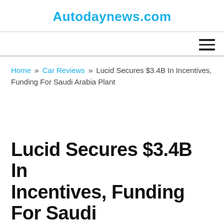Autodaynews.com
Home » Car Reviews » Lucid Secures $3.4B In Incentives, Funding For Saudi Arabia Plant
Lucid Secures $3.4B In Incentives, Funding For Saudi